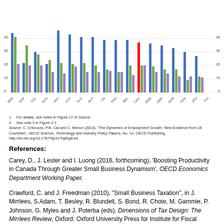[Figure (grouped-bar-chart): Employment share by country]
1. For details, see notes in Figure 17 of Source.
2. See note 3 in Figure 2.1.
Source: C. Criscuolo, P.N. Cal and C. Menon (2014), "The Dynamics of Employment Growth: New Evidence from 18 Countries", OECD Science, Technology and Industry Policy Papers, No. 14, OECD Publishing, http://dx.doi.org/10.1787/5jz417hj6hg6-en.
References:
Carey, D., J. Lester and I. Luong (2016, forthcoming), 'Boosting Productivity in Canada Through Greater Small Business Dynamism', OECD Economics Department Working Paper.
Crawford, C. and J. Freedman (2010), "Small Business Taxation", in J. Mirrlees, S.Adam, T. Besley, R. Blundell, S. Bond, R. Chote, M. Gammie, P. Johnson, G. Myles and J. Poterba (eds), Dimensions of Tax Design: The Mirrlees Review, Oxford: Oxford University Press for Institute for Fiscal Studies.